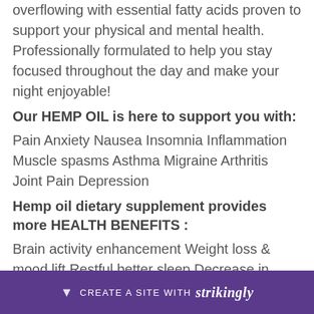overflowing with essential fatty acids proven to support your physical and mental health. Professionally formulated to help you stay focused throughout the day and make your night enjoyable!
Our HEMP OIL is here to support you with:
Pain Anxiety Nausea Insomnia Inflammation Muscle spasms Asthma Migraine Arthritis Joint Pain Depression
Hemp oil dietary supplement provides more HEALTH BENEFITS :
Brain activity enhancement Weight loss & mood lift Restful better sleep Decrease in cholesterol & blood pressure Improvement in circulation & imm...
CREATE A SITE WITH strikingly